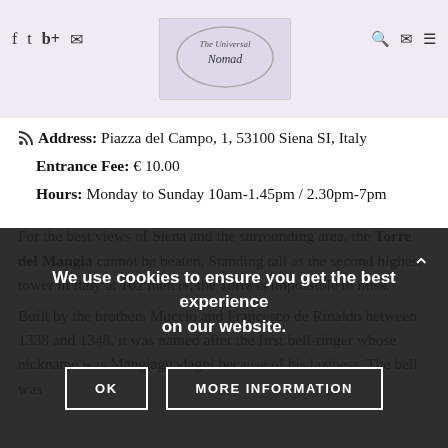The Universal Nomad — navigation header with social icons and logo
Address: Piazza del Campo, 1, 53100 Siena SI, Italy
Entrance Fee: € 10.00
Hours: Monday to Sunday 10am-1.45pm / 2.30pm-7pm
For the best views of Siena and the surrounding area, the Torre del Mangia cannot be beaten. Standing tall as the second highest tower in Italy at 102 meters, the Torre is impossible to miss.
Built by the brothers Muccio and Francesco de Rinaldo between 1338 and 1348, it was named after the first bell-ringer whose nickname was Mangiaguadagni because of his laziness. The bell was
We use cookies to ensure you get the best experience on our website.